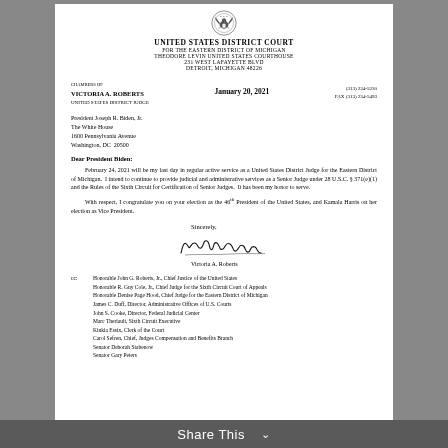UNITED STATES DISTRICT COURT
For the Eastern District of Michigan
Theodore Levin United States Courthouse
231 West Lafayette Blvd
Detroit, Michigan 48226
CHAMBERS OF
VICTORIA A. ROBERTS
UNITED STATES DISTRICT JUDGE

January 20, 2021

(313) 234-5230
FAX (313) 234-5493
President Joseph R. Biden, Jr.
The White House
1600 Pennsylvania Avenue
Washington, DC 20500
Dear President Biden:
February 24, 2021 will be my last day in regular active service as a United States District Judge for the Eastern District of Michigan. I intend to continue to provide judicial and administrative services as a Senior Judge under 28 U.S.C. § 371(e)(1) and the Rules of the Sixth Circuit for Certification of Senior Judges. It has been my honor to serve.
With respect, I congratulate you on your election as the 46th President of the United States, and Kamala Harris on her election as Vice President.
Sincerely,
Victoria A. Roberts
cc: Honorable John G. Roberts, Jr., Chief Justice of the United States
Honorable R. Guy Cole, Jr., Chief Judge for the Sixth Circuit Court of Appeals
Honorable Denise Page Hood, Chief Judge for the Eastern District of Michigan
James C. Duff, Director, Administrative Offices of U.S. Courts
John S. Cooke, Director, Federal Judicial Center
Marc Theriault, Sixth Circuit Executive
Kinkia Essix, Clerk of the Court
Carol Sefren, Chief, Judges Compensation and Benefits Branch
Senator Deborah Stabenow
Senator Gary Peters